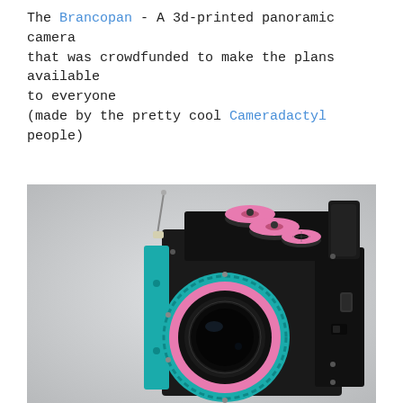The Brancopan - A 3d-printed panoramic camera that was crowdfunded to make the plans available to everyone
(made by the pretty cool Cameradactyl people)
[Figure (photo): A 3D-printed panoramic camera called the Brancopan. The camera body is primarily black with teal/turquoise side panels and pink accent pieces. It features two large pink dials on top, a teal and pink circular lens housing with a large black lens, and various knobs and controls. The camera is photographed at an angle against a light grey background.]